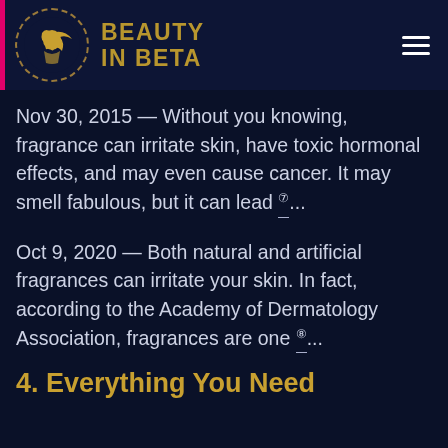BEAUTY IN BETA
Nov 30, 2015 — Without you knowing, fragrance can irritate skin, have toxic hormonal effects, and may even cause cancer. It may smell fabulous, but it can lead ⑦...
Oct 9, 2020 — Both natural and artificial fragrances can irritate your skin. In fact, according to the Academy of Dermatology Association, fragrances are one ⑧...
4. Everything You Need